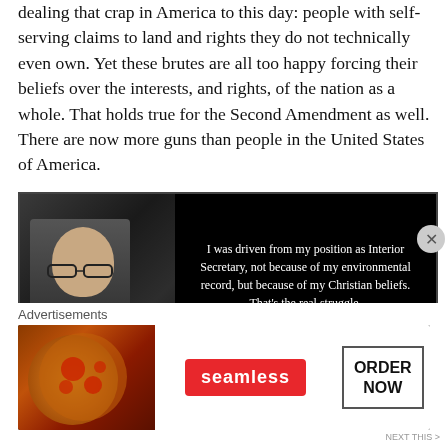dealing that crap in America to this day: people with self-serving claims to land and rights they do not technically even own. Yet these brutes are all too happy forcing their beliefs over the interests, and rights, of the nation as a whole. That holds true for the Second Amendment as well. There are now more guns than people in the United States of America.
[Figure (photo): A dark-backgrounded quote image with a photo of a bald man with glasses on the left side, and on the right side a white-text quote reading: 'I was driven from my position as Interior Secretary, not because of my environmental record, but because of my Christian beliefs. That's the real struggle.' attributed to James G. Watt. A video timestamp '3 +00:00:05' appears at the bottom left in yellow-green.]
Advertisements
[Figure (photo): Seamless food delivery advertisement banner showing pizza on dark background on the left, a red Seamless logo pill in the center, and an 'ORDER NOW' button on the right.]